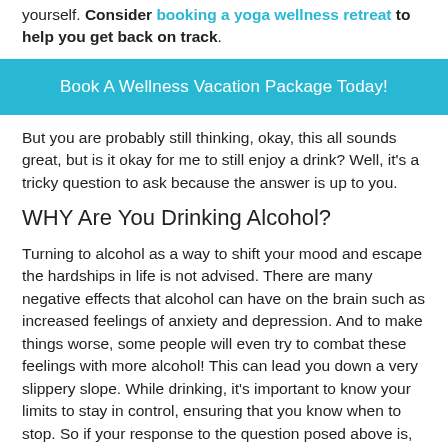yourself. Consider booking a yoga wellness retreat to help you get back on track.
Book A Wellness Vacation Package Today!
But you are probably still thinking, okay, this all sounds great, but is it okay for me to still enjoy a drink? Well, it's a tricky question to ask because the answer is up to you.
WHY Are You Drinking Alcohol?
Turning to alcohol as a way to shift your mood and escape the hardships in life is not advised. There are many negative effects that alcohol can have on the brain such as increased feelings of anxiety and depression. And to make things worse, some people will even try to combat these feelings with more alcohol! This can lead you down a very slippery slope. While drinking, it's important to know your limits to stay in control, ensuring that you know when to stop. So if your response to the question posed above is, I'm drinking alcohol to make me feel better, then it's not a good idea. If you are looking for a healthier way to enhance your mood